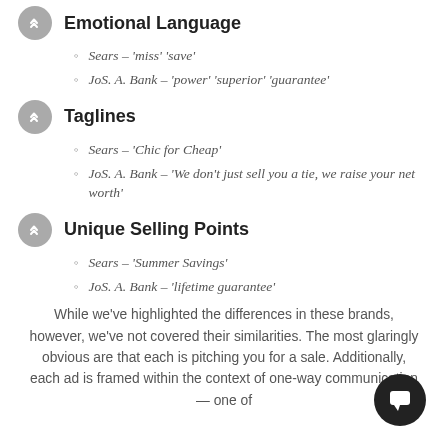Emotional Language
Sears – 'miss' 'save'
JoS. A. Bank – 'power' 'superior' 'guarantee'
Taglines
Sears – 'Chic for Cheap'
JoS. A. Bank – 'We don't just sell you a tie, we raise your net worth'
Unique Selling Points
Sears – 'Summer Savings'
JoS. A. Bank – 'lifetime guarantee'
While we've highlighted the differences in these brands, however, we've not covered their similarities. The most glaringly obvious are that each is pitching you for a sale. Additionally, each ad is framed within the context of one-way communication — one of